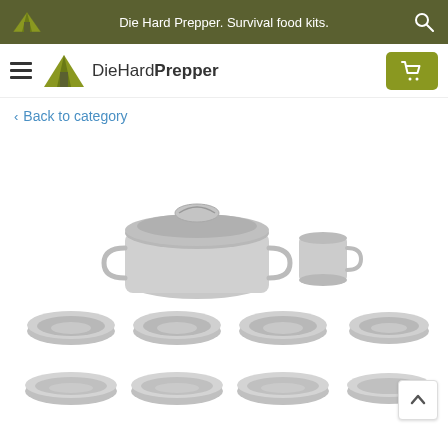Die Hard Prepper. Survival food kits.
[Figure (logo): DieHardPrepper logo with tent icon and brand name]
Back to category
[Figure (photo): Stainless steel camping cookware set with a pot with lid, a mug, four bowls, and four plates arranged on white background]